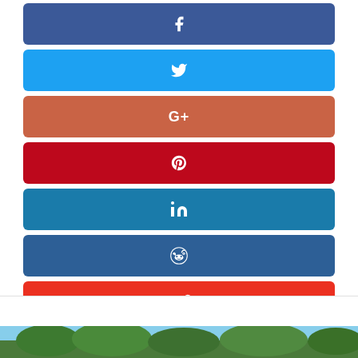[Figure (infographic): Social media share buttons: Facebook (dark blue), Twitter (light blue), Google+ (orange-red), Pinterest (dark red), LinkedIn (medium blue), Reddit (slate blue), StumbleUpon (red), Email (gray)]
[Figure (photo): Partial photo of trees and sky visible at the bottom of the page]